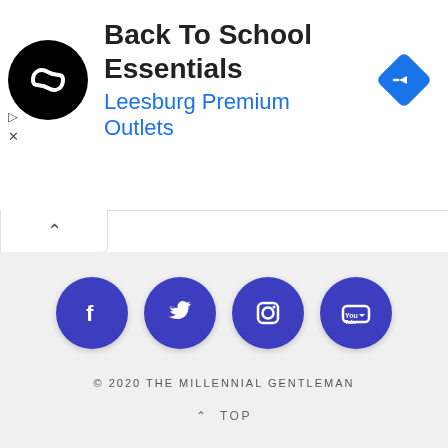[Figure (infographic): Advertisement banner with black circular logo with infinity symbol, title 'Back To School Essentials', subtitle 'Leesburg Premium Outlets', and blue diamond navigation icon on the right. Play and close controls on the left side.]
[Figure (infographic): Collapse/chevron-up tab button below the ad banner]
[Figure (infographic): Social media icons row: Facebook, Twitter, Instagram, YouTube — each in blue circle]
© 2020 THE MILLENNIAL GENTLEMAN
^ TOP